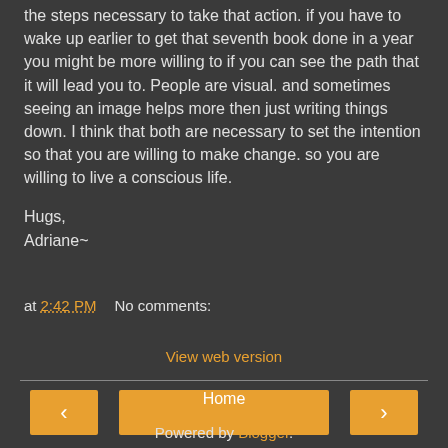the steps necessary to take that action. if you have to wake up earlier to get that seventh book done in a year you might be more willing to if you can see the path that it will lead you to. People are visual. and sometimes seeing an image helps more then just writing things down. I think that both are necessary to set the intention so that you are willing to make change. so you are willing to live a conscious life.
Hugs,
Adriane~
at 2:42 PM   No comments:
Share
‹
Home
›
View web version
Powered by Blogger.